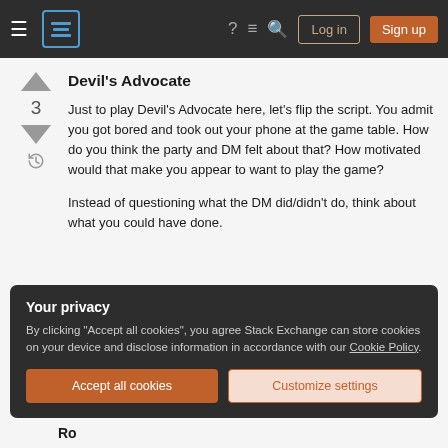Stack Exchange navigation bar with Log in and Sign up buttons
Devil's Advocate
Just to play Devil's Advocate here, let's flip the script. You admit you got bored and took out your phone at the game table. How do you think the party and DM felt about that? How motivated would that make you appear to want to play the game?
Instead of questioning what the DM did/didn't do, think about what you could have done.
Your privacy
By clicking "Accept all cookies", you agree Stack Exchange can store cookies on your device and disclose information in accordance with our Cookie Policy.
Accept all cookies   Customize settings